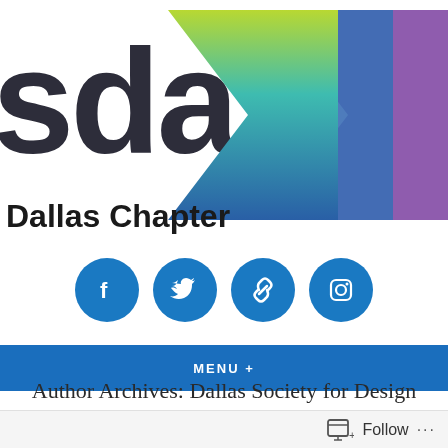[Figure (logo): SDA Dallas Chapter logo with colorful chevron arrows (green, teal, blue, purple gradient) and large dark 'sda' text]
Dallas Chapter
[Figure (infographic): Four blue circular social media icons: Facebook, Twitter, Link/URL, Instagram]
MENU +
Author Archives: Dallas Society for Design Administration
[Figure (infographic): Follow button with icon and three-dot menu in bottom bar]